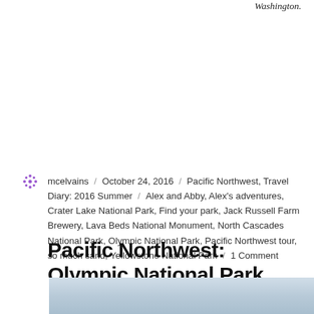Washington.
mcelvains / October 24, 2016 / Pacific Northwest, Travel Diary: 2016 Summer / Alex and Abby, Alex's adventures, Crater Lake National Park, Find your park, Jack Russell Farm Brewery, Lava Beds National Monument, North Cascades National Park, Olympic National Park, Pacific Northwest tour, so much sand, Yellowstone National Park / 1 Comment
Pacific Northwest: Olympic National Park
[Figure (photo): Sky and clouds photo strip at the bottom of the page]